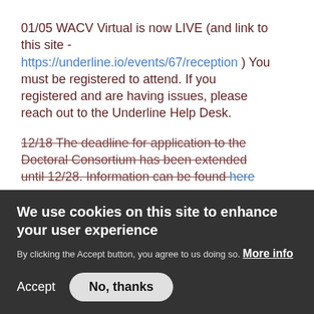01/05 WACV Virtual is now LIVE (and link to this site -https://underline.io/events/67/reception ) You must be registered to attend. If you registered and are having issues, please reach out to the Underline Help Desk.
12/18 The deadline for application to the Doctoral Consortium has been extended until 12/28. Information can be found here
12/2 – The full program can be found here ; At a glance here and speaker overview here
11/30 – The Doctoral Consortium is now accepting applications. link here
We use cookies on this site to enhance your user experience
By clicking the Accept button, you agree to us doing so. More info
Accept
No, thanks